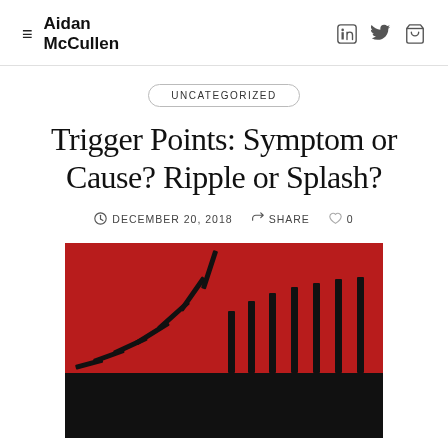Aidan McCullen
UNCATEGORIZED
Trigger Points: Symptom or Cause? Ripple or Splash?
DECEMBER 20, 2018  SHARE  0
[Figure (illustration): Domino pieces falling in sequence against a red and black background, illustrating a chain reaction or trigger point effect.]